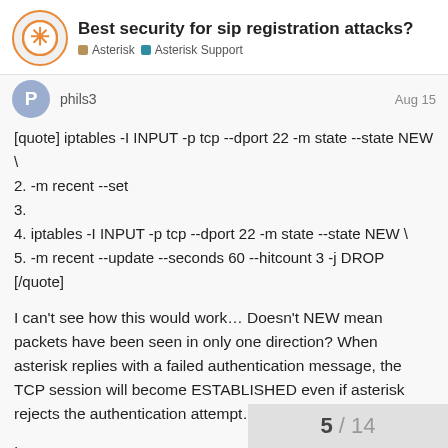Best security for sip registration attacks? | Asterisk | Asterisk Support
phils3 Aug 15
[quote] iptables -I INPUT -p tcp --dport 22 -m state --state NEW \
2. -m recent --set
3.
4. iptables -I INPUT -p tcp --dport 22 -m state --state NEW \
5. -m recent --update --seconds 60 --hitcount 3 -j DROP
[/quote]
I can't see how this would work… Doesn't NEW mean packets have been seen in only one direction? When asterisk replies with a failed authentication message, the TCP session will become ESTABLISHED even if asterisk rejects the authentication attempt…
Ian
5 / 14